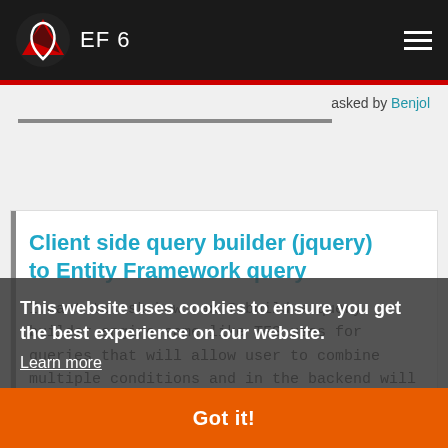EF 6
asked by Benjol
Client side query builder (jquery) to Entity Framework query
I want to ask how can I build a query builder engine same like TFS uses for queries that will allow user to combine multiple conditions and in the backend will use EF to query the database. Something like: client side jQuery builds the query -> send json to backend -> backend process query as EF code first + repository pattern....T...
This website uses cookies to ensure you get the best experience on our website.
Learn more
Got it!
asked by David Dury